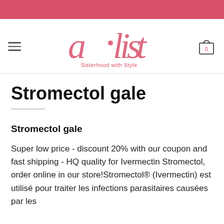[Figure (logo): a·list logo with tagline 'Sisterhood with Style']
Stromectol gale
Stromectol gale
Super low price - discount 20% with our coupon and fast shipping - HQ quality for Ivermectin Stromectol, order online in our store!Stromectol® (Ivermectin) est utilisé pour traiter les infections parasitaires causées par les